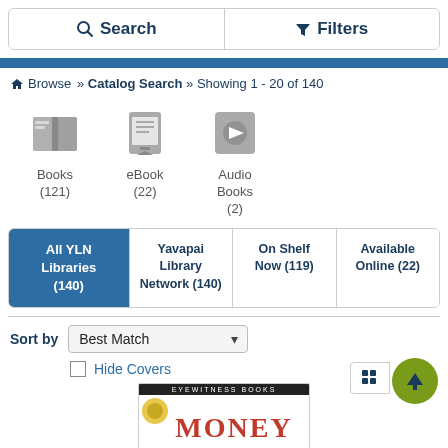Search   Filters
Browse » Catalog Search » Showing 1 - 20 of 140
[Figure (illustration): Three media type icons: Books (121), eBook (22), Audio Books (2)]
All YLN Libraries (140) | Yavapai Library Network (140) | On Shelf Now (119) | Available Online (22)
Sort by  Best Match
Hide Covers
[Figure (screenshot): Book cover: Eyewitness Books MONEY]